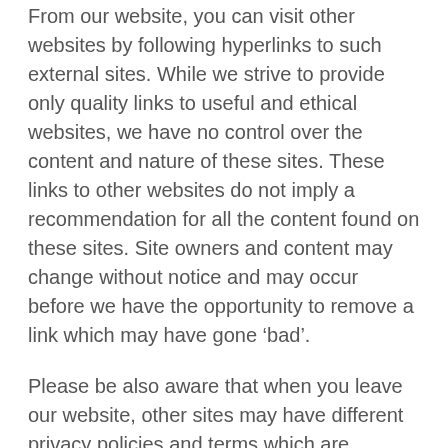From our website, you can visit other websites by following hyperlinks to such external sites. While we strive to provide only quality links to useful and ethical websites, we have no control over the content and nature of these sites. These links to other websites do not imply a recommendation for all the content found on these sites. Site owners and content may change without notice and may occur before we have the opportunity to remove a link which may have gone ‘bad’.
Please be also aware that when you leave our website, other sites may have different privacy policies and terms which are beyond our control. Please be sure to check the Privacy Policies of these sites as well as their “Terms of Service” before engaging in any business or uploading any